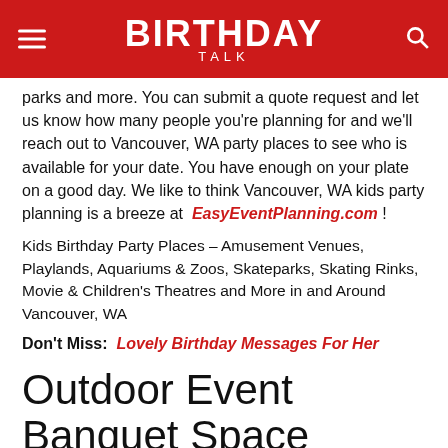BIRTHDAY TALK
parks and more. You can submit a quote request and let us know how many people you're planning for and we'll reach out to Vancouver, WA party places to see who is available for your date. You have enough on your plate on a good day. We like to think Vancouver, WA kids party planning is a breeze at EasyEventPlanning.com !
Kids Birthday Party Places – Amusement Venues, Playlands, Aquariums & Zoos, Skateparks, Skating Rinks, Movie & Children's Theatres and More in and Around Vancouver, WA
Don't Miss: Lovely Birthday Messages For Her
Outdoor Event Banquet Space
During the warmer or even the rainy months, Latte Das outdoor event space area is large enough for all occasions. Surrounded by a lush green hedge, and shaded by two large sail canopies, the event space seems